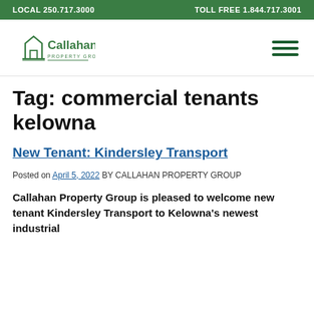LOCAL 250.717.3000   TOLL FREE 1.844.717.3001
[Figure (logo): Callahan Property Group logo with green house/building outline and green text]
Tag: commercial tenants kelowna
New Tenant: Kindersley Transport
Posted on April 5, 2022 BY CALLAHAN PROPERTY GROUP
Callahan Property Group is pleased to welcome new tenant Kindersley Transport to Kelowna's newest industrial